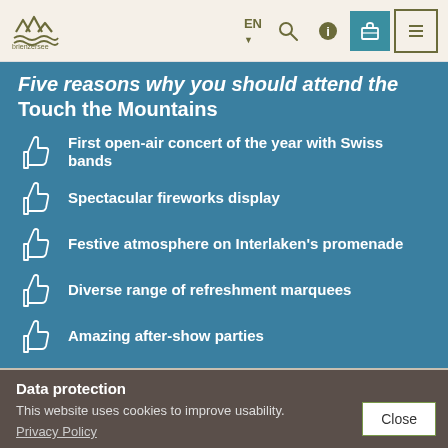brienzersee — EN navigation header
Five reasons why you should attend the Touch the Mountains
First open-air concert of the year with Swiss bands
Spectacular fireworks display
Festive atmosphere on Interlaken's promenade
Diverse range of refreshment marquees
Amazing after-show parties
Data protection
This website uses cookies to improve usability.
Privacy Policy